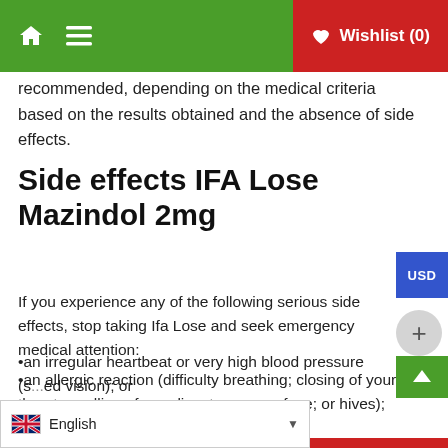Wishlist (0)
recommended, depending on the medical criteria based on the results obtained and the absence of side effects.
Side effects IFA Lose Mazindol 2mg
If you experience any of the following serious side effects, stop taking Ifa Lose and seek emergency medical attention:
•an allergic reaction (difficulty breathing; closing of your throat; swelling of your lips, tongue, or face; or hives);
•an irregular heartbeat or very high blood pressure (s... ed vision); or